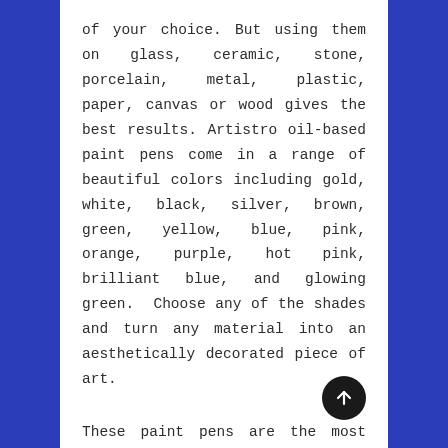of your choice. But using them on glass, ceramic, stone, porcelain, metal, plastic, paper, canvas or wood gives the best results. Artistro oil-based paint pens come in a range of beautiful colors including gold, white, black, silver, brown, green, yellow, blue, pink, orange, purple, hot pink, brilliant blue, and glowing green.  Choose any of the shades and turn any material into an aesthetically decorated piece of art.
These paint pens are the most exceptional pick if you want to paint anything hassle-free. You don't have to worry about scratching, scuffing, fading, and water reaction while working with these colors. Just focus on your art piece with full concentration and forget about any potential